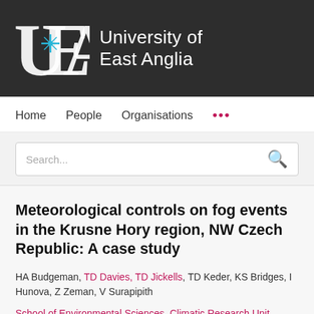[Figure (logo): University of East Anglia logo with UEA monogram and star/cross symbol on dark background, with text 'University of East Anglia']
Home   People   Organisations   ...
Search...
Meteorological controls on fog events in the Krusne Hory region, NW Czech Republic: A case study
HA Budgeman, TD Davies, TD Jickells, TD Keder, KS Bridges, I Hunova, Z Zeman, V Surapipith
School of Environmental Sciences, Climatic Research Unit,